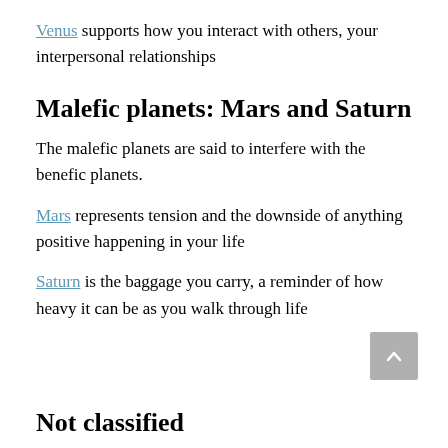Venus supports how you interact with others, your interpersonal relationships
Malefic planets: Mars and Saturn
The malefic planets are said to interfere with the benefic planets.
Mars represents tension and the downside of anything positive happening in your life
Saturn is the baggage you carry, a reminder of how heavy it can be as you walk through life
Not classified